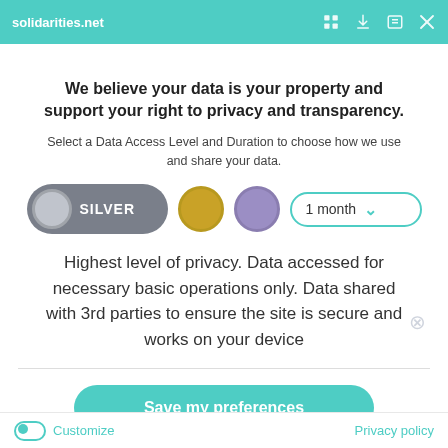solidarities.net
We believe your data is your property and support your right to privacy and transparency.
Select a Data Access Level and Duration to choose how we use and share your data.
Highest level of privacy. Data accessed for necessary basic operations only. Data shared with 3rd parties to ensure the site is secure and works on your device
Save my preferences
Customize
Privacy policy